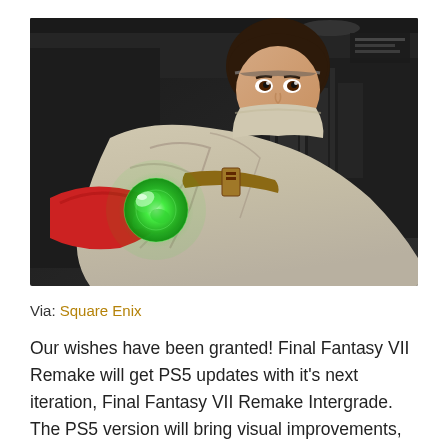[Figure (photo): A young woman character from Final Fantasy VII Remake (Yuffie) holding a glowing green materia orb close to the camera, wearing a beige cloak with a brown belt, set in a dark industrial background]
Via: Square Enix
Our wishes have been granted! Final Fantasy VII Remake will get PS5 updates with it's next iteration, Final Fantasy VII Remake Intergrade. The PS5 version will bring visual improvements, photo mode, as well as new story content featuring Yuffie. Owners of the PS4